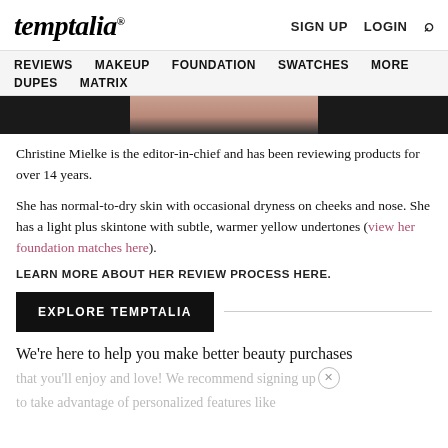temptalia® | SIGN UP  LOGIN  🔍
REVIEWS  MAKEUP  FOUNDATION  SWATCHES  MORE  DUPES  MATRIX
[Figure (photo): Partial cropped photo of a person's neck/chin area, dark background]
Christine Mielke is the editor-in-chief and has been reviewing products for over 14 years.
She has normal-to-dry skin with occasional dryness on cheeks and nose. She has a light plus skintone with subtle, warmer yellow undertones (view her foundation matches here).
LEARN MORE ABOUT HER REVIEW PROCESS HERE.
EXPLORE TEMPTALIA
We're here to help you make better beauty purchases that you'll enjoy and love! We recommend signing up to take advantage of personalized features like